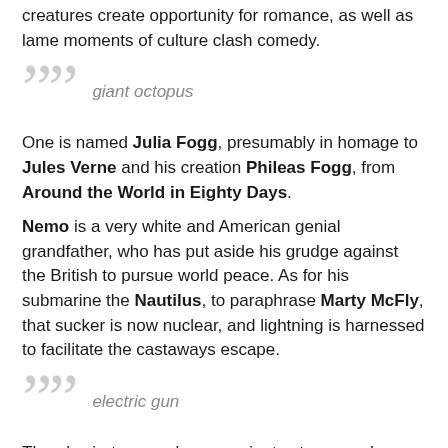creatures create opportunity for romance, as well as lame moments of culture clash comedy.
[Figure (other): Pull quote marker with giant quotation marks and italic label 'giant octopus']
One is named Julia Fogg, presumably in homage to Jules Verne and his creation Phileas Fogg, from Around the World in Eighty Days.
Nemo is a very white and American genial grandfather, who has put aside his grudge against the British to pursue world peace. As for his submarine the Nautilus, to paraphrase Marty McFly, that sucker is now nuclear, and lightning is harnessed to facilitate the castaways escape.
[Figure (other): Pull quote marker with giant quotation marks and italic label 'electric gun']
There's pirates, a volcano, a giant octopus and an electric gun, the last two have clearly wandered in from 20,000 Leagues Under the Sea. But at least that suggests someone on the production team is at least passingly familiar with Verne's work.